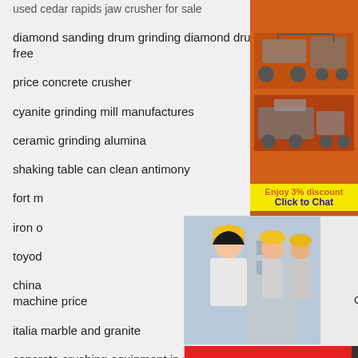used cedar rapids jaw crusher for sale
diamond sanding drum grinding diamond drum wheels free
price concrete crusher
cyanite grinding mill manufactures
ceramic grinding alumina
shaking table can clean antimony
fort m[obscured by overlay]
iron o[obscured by overlay]
toyod[obscured by overlay]
china [obscured] machine price
italia marble and granite
concrete crushing equipment in nc
gold mine concentrator plant process
brochure vibrating sieve screen
high intensity and competitive wet magnetic separator price
[Figure (illustration): Live chat popup overlay with woman in hard hat, red LIVE CHAT text, Chat now / Chat later buttons]
[Figure (illustration): Right sidebar with orange background, mining/crushing machine images, discount banner, enquiry section with email limingjlmofen@sina.com]